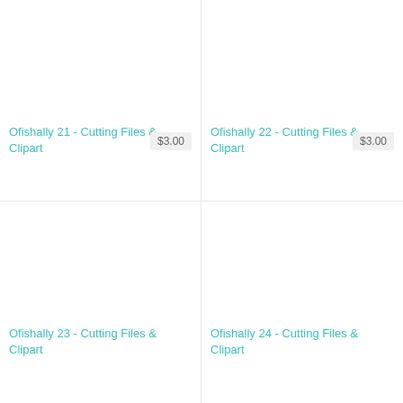Ofishally 21 - Cutting Files & Clipart
$3.00
Ofishally 22 - Cutting Files & Clipart
$3.00
Ofishally 23 - Cutting Files & Clipart
Ofishally 24 - Cutting Files & Clipart